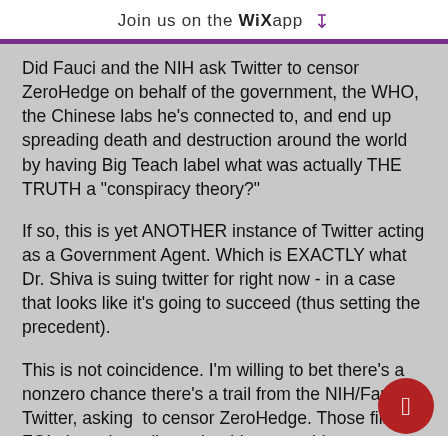Join us on the WiX app ⬇
Did Fauci and the NIH ask Twitter to censor ZeroHedge on behalf of the government, the WHO, the Chinese labs he's connected to, and end up spreading death and destruction around the world by having Big Teach label what was actually THE TRUTH a "conspiracy theory?"
If so, this is yet ANOTHER instance of Twitter acting as a Government Agent. Which is EXACTLY what Dr. Shiva is suing twitter for right now - in a case that looks like it's going to succeed (thus setting the precedent).
This is not coincidence. I'm willing to bet there's a nonzero chance there's a trail from the NIH/Fauci to Twitter, asking to censor ZeroHedge. Those filing FOI along those lines should pursue this